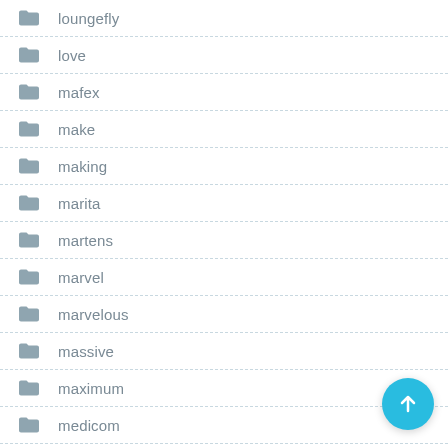loungefly
love
mafex
make
making
marita
martens
marvel
marvelous
massive
maximum
medicom
[Figure (other): Teal circular FAB button with upward arrow]